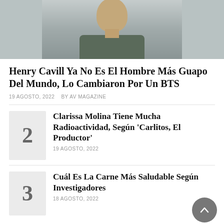[Figure (photo): Photo of a man (Henry Cavill) cropped at top, showing face and upper body wearing a dark green shirt, against a light background]
Henry Cavill Ya No Es El Hombre Más Guapo Del Mundo, Lo Cambiaron Por Un BTS
19 AGOSTO, 2022  BY AV MAGAZINE
2 — Clarissa Molina Tiene Mucha Radioactividad, Según 'Carlitos, El Productor' — 19 AGOSTO, 2022
3 — Cuál Es La Carne Más Saludable Según Investigadores — 18 AGOSTO, 2022